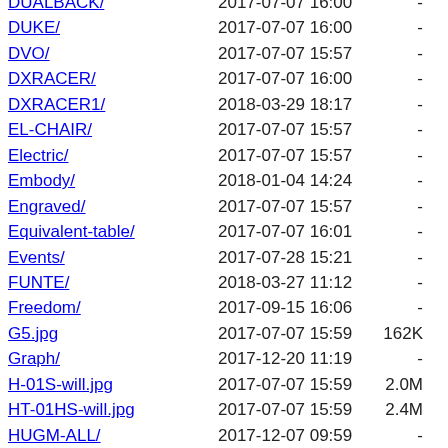DUALBACK/ 2017-07-07 16:00 -
DUKE/ 2017-07-07 16:00 -
DVO/ 2017-07-07 15:57 -
DXRACER/ 2017-07-07 16:00 -
DXRACER1/ 2018-03-29 18:17 -
EL-CHAIR/ 2017-07-07 15:57 -
Electric/ 2017-07-07 15:57 -
Embody/ 2018-01-04 14:24 -
Engraved/ 2017-07-07 15:57 -
Equivalent-table/ 2017-07-07 16:01 -
Events/ 2017-07-28 15:21 -
FUNTE/ 2018-03-27 11:12 -
Freedom/ 2017-09-15 16:06 -
G5.jpg 2017-07-07 15:59 162K
Graph/ 2017-12-20 11:19 -
H-01S-will.jpg 2017-07-07 15:59 2.0M
HT-01HS-will.jpg 2017-07-07 15:59 2.4M
HUGM-ALL/ 2017-12-07 09:59 -
Hilker/ 2017-07-07 16:01 -
Home/ 2017-07-07 16:01 -